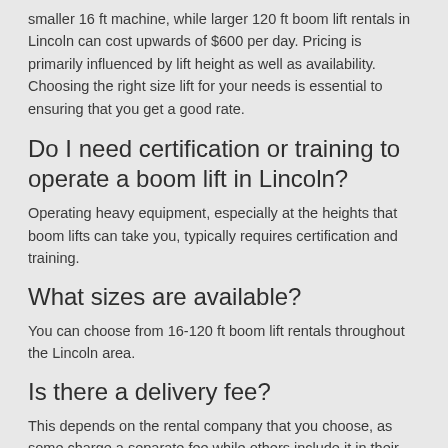smaller 16 ft machine, while larger 120 ft boom lift rentals in Lincoln can cost upwards of $600 per day. Pricing is primarily influenced by lift height as well as availability. Choosing the right size lift for your needs is essential to ensuring that you get a good rate.
Do I need certification or training to operate a boom lift in Lincoln?
Operating heavy equipment, especially at the heights that boom lifts can take you, typically requires certification and training.
What sizes are available?
You can choose from 16-120 ft boom lift rentals throughout the Lincoln area.
Is there a delivery fee?
This depends on the rental company that you choose, as some charge a separate fee while others include it in their rental rate. Always verify that the delivery fee is included when obtaining quotes.
Is there any discounts or minimums?